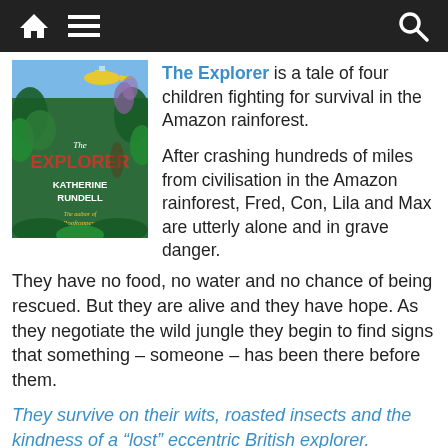Navigation bar with home, menu, and search icons
[Figure (illustration): Book cover of 'The Explorer' by Katherine Rundell, showing a jungle scene with a plane, tropical plants, and animals]
The Explorer is a tale of four children fighting for survival in the Amazon rainforest.
After crashing hundreds of miles from civilisation in the Amazon rainforest, Fred, Con, Lila and Max are utterly alone and in grave danger. They have no food, no water and no chance of being rescued. But they are alive and they have hope. As they negotiate the wild jungle they begin to find signs that something – someone – has been there before them.
They survive on their wits, roasted insects and the kindness of a “lost” eccentric British explorer.
The Costa Judges say: ‘A masterful, delicious read